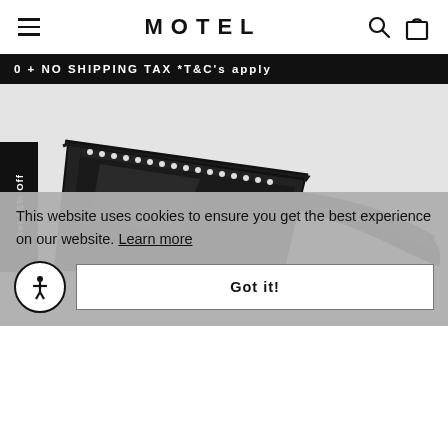MOTEL
0 + NO SHIPPING TAX *T&C's apply
[Figure (photo): Black cat-eye rhinestone sunglasses shown from a 3/4 angle on a light grey background. The frames are angular/triangular with a row of rhinestones along the top edge, and long thick arms extending to the right.]
Get 15% Off
This website uses cookies to ensure you get the best experience on our website. Learn more
Got it!